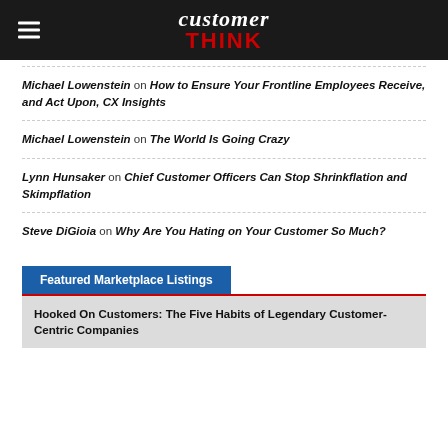customer THINK
Michael Lowenstein on How to Ensure Your Frontline Employees Receive, and Act Upon, CX Insights
Michael Lowenstein on The World Is Going Crazy
Lynn Hunsaker on Chief Customer Officers Can Stop Shrinkflation and Skimpflation
Steve DiGioia on Why Are You Hating on Your Customer So Much?
Featured Marketplace Listings
Hooked On Customers: The Five Habits of Legendary Customer-Centric Companies